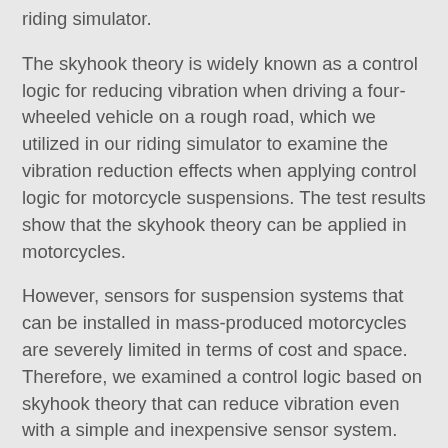riding simulator.
The skyhook theory is widely known as a control logic for reducing vibration when driving a four-wheeled vehicle on a rough road, which we utilized in our riding simulator to examine the vibration reduction effects when applying control logic for motorcycle suspensions. The test results show that the skyhook theory can be applied in motorcycles.
However, sensors for suspension systems that can be installed in mass-produced motorcycles are severely limited in terms of cost and space. Therefore, we examined a control logic based on skyhook theory that can reduce vibration even with a simple and inexpensive sensor system.
A novel control logic was successfully designed that implements the relationship between the suspension stroke speed and the vertical acceleration of the sprung mass from the dynamics